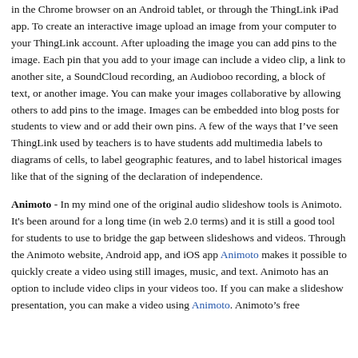in the Chrome browser on an Android tablet, or through the ThingLink iPad app. To create an interactive image upload an image from your computer to your ThingLink account. After uploading the image you can add pins to the image. Each pin that you add to your image can include a video clip, a link to another site, a SoundCloud recording, an Audioboo recording, a block of text, or another image. You can make your images collaborative by allowing others to add pins to the image. Images can be embedded into blog posts for students to view and or add their own pins. A few of the ways that I've seen ThingLink used by teachers is to have students add multimedia labels to diagrams of cells, to label geographic features, and to label historical images like that of the signing of the declaration of independence.
Animoto - In my mind one of the original audio slideshow tools is Animoto. It's been around for a long time (in web 2.0 terms) and it is still a good tool for students to use to bridge the gap between slideshows and videos. Through the Animoto website, Android app, and iOS app Animoto makes it possible to quickly create a video using still images, music, and text. Animoto has an option to include video clips in your videos too. If you can make a slideshow presentation, you can make a video using Animoto. Animoto's free